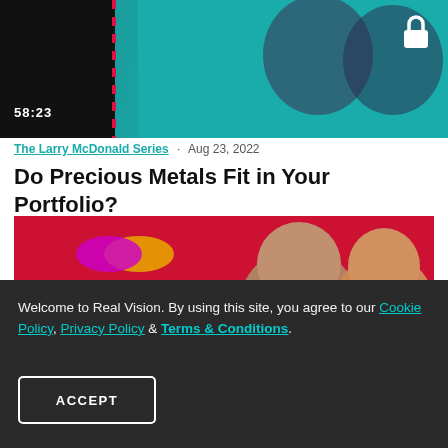[Figure (screenshot): Video thumbnail showing two people in suits on a teal background with a timecode of 58:23 and a lock icon, indicating premium/locked content]
The Larry McDonald Series · Aug 23, 2022
Do Precious Metals Fit in Your Portfolio?
[Figure (photo): Real Vision branded thumbnail image showing two men against a red background with the Real Vision logo in white bar below]
Welcome to Real Vision. By using this site, you agree to our Cookie Policy, Privacy Policy & Terms & Conditions.
ACCEPT